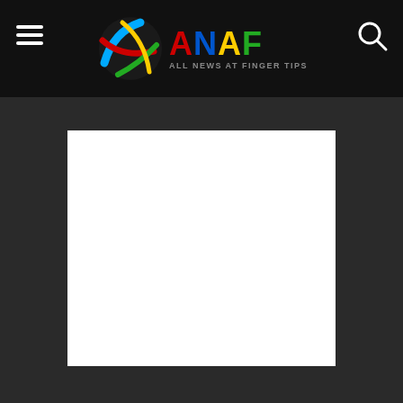[Figure (logo): ANAF (All News At Finger Tips) logo with colorful globe graphic and multicolored text]
[Figure (other): White rectangle placeholder/content area on dark background]